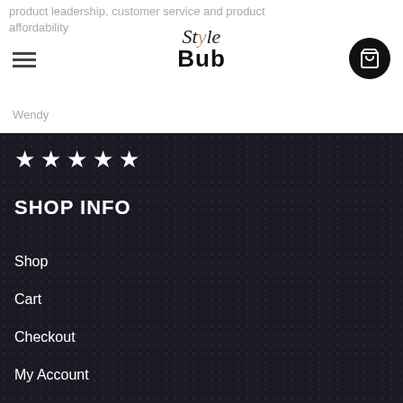product leadership, customer service and product affordability
[Figure (logo): Style Bub logo with stylized script 'Style' and bold 'Bub' text]
Wendy
[Figure (infographic): 5 white star rating on dark dotted background]
SHOP INFO
Shop
Cart
Checkout
My Account
Wishlist